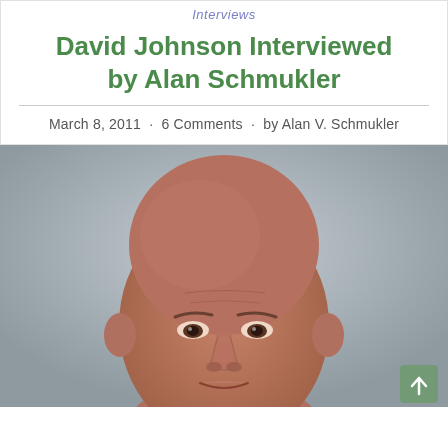Interviews
David Johnson Interviewed by Alan Schmukler
March 8, 2011 · 6 Comments · by Alan V. Schmukler
[Figure (photo): Headshot photograph of David Johnson, a middle-aged bald man, against a grey background]